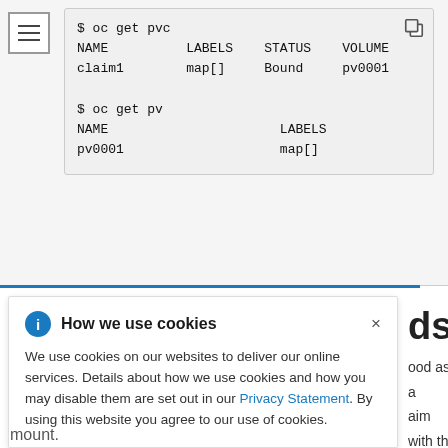[Figure (screenshot): Terminal/code block showing 'oc get pvc' and 'oc get pv' command output with NAME, LABELS, STATUS, VOLUME columns]
How we use cookies
We use cookies on our websites to deliver our online services. Details about how we use cookies and how you may disable them are set out in our Privacy Statement. By using this website you agree to our use of cookies.
mount.